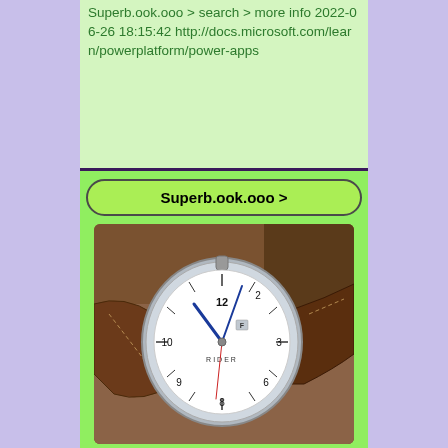Superb.ook.ooo > search > more info 2022-06-26 18:15:42 http://docs.microsoft.com/learn/powerplatform/power-apps
[Figure (other): A green button labeled 'Superb.ook.ooo >' with rounded corners on a light green background]
[Figure (photo): A close-up photograph of a RIDER brand analog wristwatch with a white dial, blue hands, brown leather strap, sitting on a wooden surface]